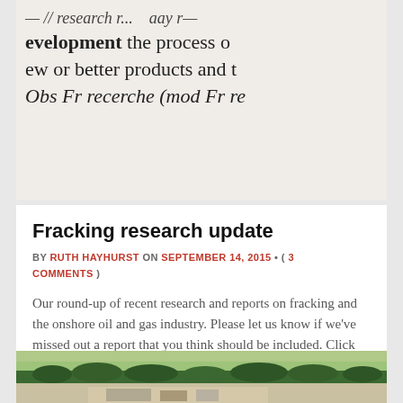[Figure (photo): Cropped dictionary entry showing text about research and development, with bold and italic typography. Text visible: '— // research r...', 'evelopment the process o', 'ew or better products and t', 'Obs Fr recerche (mod Fr re']
Fracking research update
BY RUTH HAYHURST ON SEPTEMBER 14, 2015 • ( 3 COMMENTS )
Our round-up of recent research and reports on fracking and the onshore oil and gas industry. Please let us know if we've missed out a report that you think should be included. Click here to get in touch.
[Figure (photo): Aerial photograph of agricultural fields with trees and what appears to be an industrial or drilling pad site with structures visible in the lower portion.]